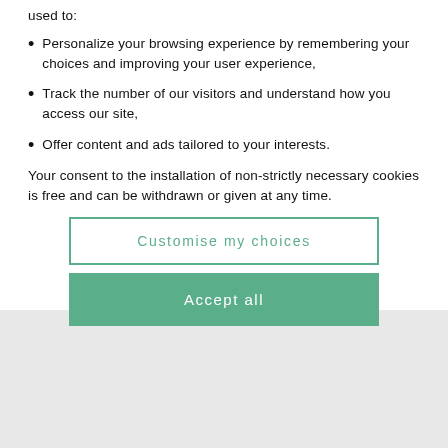used to:
Personalize your browsing experience by remembering your choices and improving your user experience,
Track the number of our visitors and understand how you access our site,
Offer content and ads tailored to your interests.
Your consent to the installation of non-strictly necessary cookies is free and can be withdrawn or given at any time.
Customise my choices
Accept all
58
SIMCA
LOT DE 3 TÔLES PEINTES DOUBLE FACE ARIANE, ARONDE,...